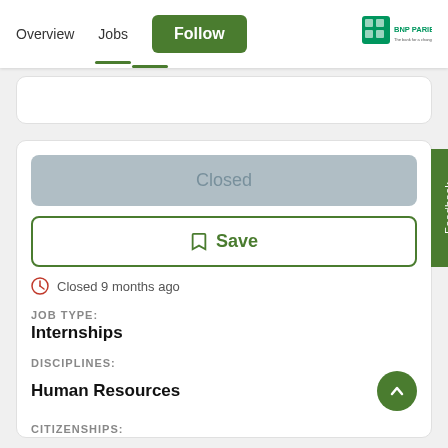Overview   Jobs   Follow   BNP PARIBAS
Closed
🔖 Save
Closed 9 months ago
JOB TYPE:
Internships
DISCIPLINES:
Human Resources
CITIZENSHIPS:
Feedback